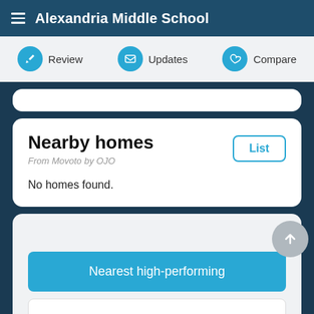Alexandria Middle School
Review | Updates | Compare
Nearby homes
From Movoto by OJO
No homes found.
Nearest high-performing
Nearby schools